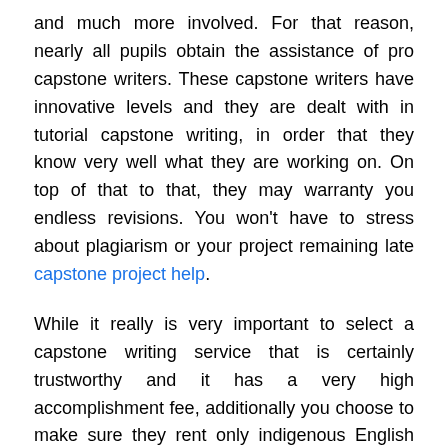and much more involved. For that reason, nearly all pupils obtain the assistance of pro capstone writers. These capstone writers have innovative levels and they are dealt with in tutorial capstone writing, in order that they know very well what they are working on. On top of that to that, they may warranty you endless revisions. You won't have to stress about plagiarism or your project remaining late capstone project help.
While it really is very important to select a capstone writing service that is certainly trustworthy and it has a very high accomplishment fee, additionally you choose to make sure they rent only indigenous English speakers. Those that usually aren't absolutely sure regardless if they're going to be capable to fulfill your prerequisites, you can easily check out out their opinions over the internet. For anyone who is not pleased with the caliber of their show results, you can still also question for just a cost-free estimate. It